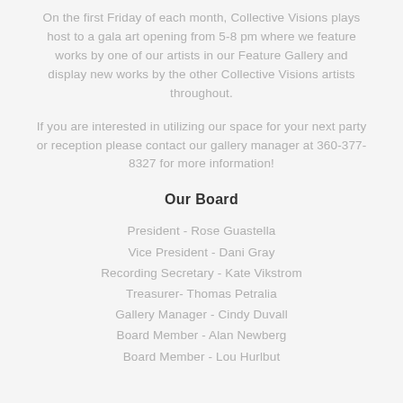On the first Friday of each month, Collective Visions plays host to a gala art opening from 5-8 pm where we feature works by one of our artists in our Feature Gallery and display new works by the other Collective Visions artists throughout.
If you are interested in utilizing our space for your next party or reception please contact our gallery manager at 360-377-8327 for more information!
Our Board
President - Rose Guastella
Vice President - Dani Gray
Recording Secretary - Kate Vikstrom
Treasurer- Thomas Petralia
Gallery Manager - Cindy Duvall
Board Member - Alan Newberg
Board Member - Lou Hurlbut